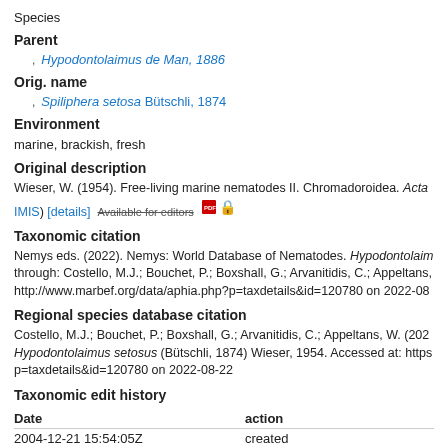Species
Parent
Hypodontolaimus de Man, 1886
Orig. name
Spiliphera setosa Bütschli, 1874
Environment
marine, brackish, fresh
Original description
Wieser, W. (1954). Free-living marine nematodes II. Chromadoroidea. Acta IMIS) [details]  Available for editors
Taxonomic citation
Nemys eds. (2022). Nemys: World Database of Nematodes. Hypodontolaim through: Costello, M.J.; Bouchet, P.; Boxshall, G.; Arvanitidis, C.; Appeltans, http://www.marbef.org/data/aphia.php?p=taxdetails&id=120780 on 2022-08
Regional species database citation
Costello, M.J.; Bouchet, P.; Boxshall, G.; Arvanitidis, C.; Appeltans, W. (202 Hypodontolaimus setosus (Bütschli, 1874) Wieser, 1954. Accessed at: https p=taxdetails&id=120780 on 2022-08-22
Taxonomic edit history
| Date | action |
| --- | --- |
| 2004-12-21 15:54:05Z | created |
| 2014-04-24 08:39:36Z | changed |